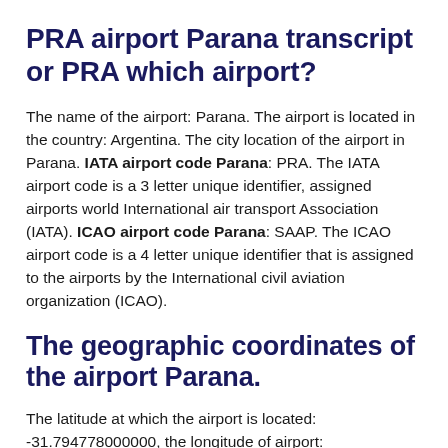PRA airport Parana transcript or PRA which airport?
The name of the airport: Parana. The airport is located in the country: Argentina. The city location of the airport in Parana. IATA airport code Parana: PRA. The IATA airport code is a 3 letter unique identifier, assigned airports world International air transport Association (IATA). ICAO airport code Parana: SAAP. The ICAO airport code is a 4 letter unique identifier that is assigned to the airports by the International civil aviation organization (ICAO).
The geographic coordinates of the airport Parana.
The latitude at which the airport is located: -31.794778000000, the longitude of airport: